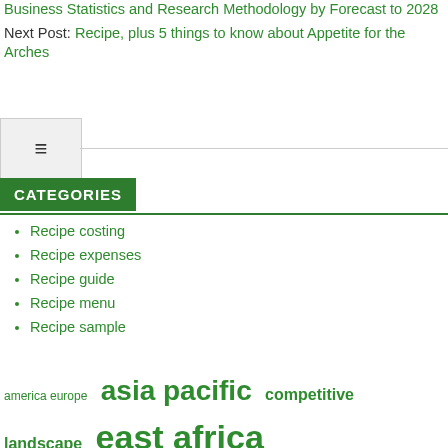Business Statistics and Research Methodology by Forecast to 2028
Next Post: Recipe, plus 5 things to know about Appetite for the Arches
CATEGORIES
Recipe costing
Recipe expenses
Recipe guide
Recipe menu
Recipe sample
america europe  asia pacific  competitive landscape  east africa  forecast period  key players  market report  market research  market size  middle east